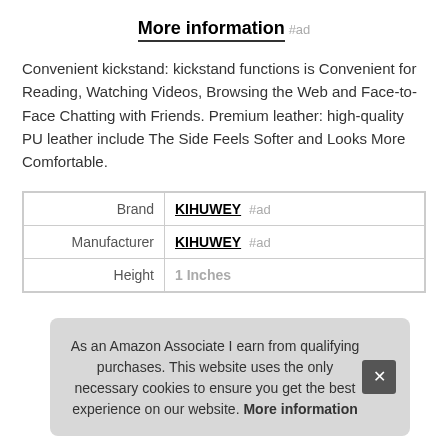More information #ad
Convenient kickstand: kickstand functions is Convenient for Reading, Watching Videos, Browsing the Web and Face-to-Face Chatting with Friends. Premium leather: high-quality PU leather include The Side Feels Softer and Looks More Comfortable.
|  |  |
| --- | --- |
| Brand | KIHUWEY #ad |
| Manufacturer | KIHUWEY #ad |
| Height | 1 Inches |
As an Amazon Associate I earn from qualifying purchases. This website uses the only necessary cookies to ensure you get the best experience on our website. More information